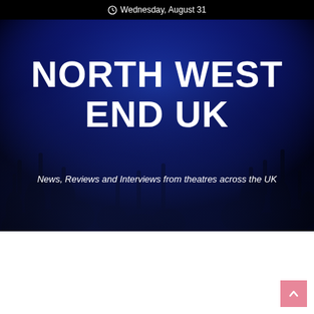Wednesday, August 31
[Figure (photo): Concert crowd with hands raised, lit by blue stage lighting, dark background. Overlay text reads 'NORTH WEST END UK' with subtitle 'News, Reviews and Interviews from theatres across the UK']
NORTH WEST END UK
News, Reviews and Interviews from theatres across the UK